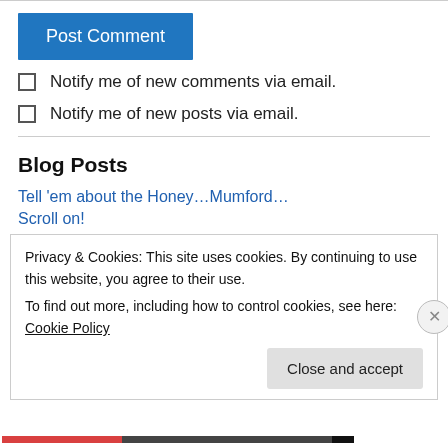[Figure (other): Top border line / input box top edge]
Post Comment
Notify me of new comments via email.
Notify me of new posts via email.
Blog Posts
Tell 'em about the Honey…Mumford…
Scroll on!
Privacy & Cookies: This site uses cookies. By continuing to use this website, you agree to their use.
To find out more, including how to control cookies, see here: Cookie Policy
Close and accept